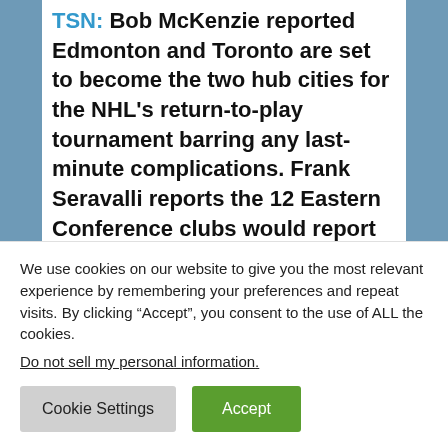TSN: Bob McKenzie reported Edmonton and Toronto are set to become the two hub cities for the NHL's return-to-play tournament barring any last-minute complications. Frank Seravalli reports the 12 Eastern Conference clubs would report to Toronto and the 12 Western Conference clubs would head to Edmonton.
SPORTSNET: Chris Johnston reports Phase 3 (training camp) would begin on July 13, with
We use cookies on our website to give you the most relevant experience by remembering your preferences and repeat visits. By clicking “Accept”, you consent to the use of ALL the cookies.
Do not sell my personal information.